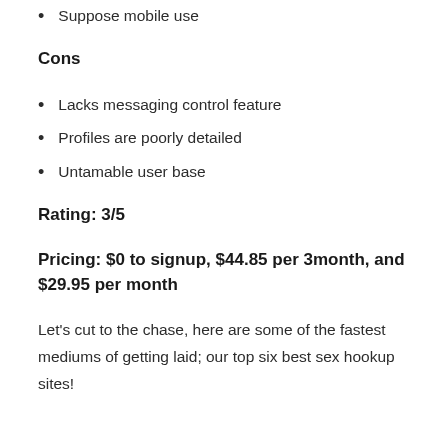Suppose mobile use
Cons
Lacks messaging control feature
Profiles are poorly detailed
Untamable user base
Rating: 3/5
Pricing: $0 to signup, $44.85 per 3month, and $29.95 per month
Let's cut to the chase, here are some of the fastest mediums of getting laid; our top six best sex hookup sites!